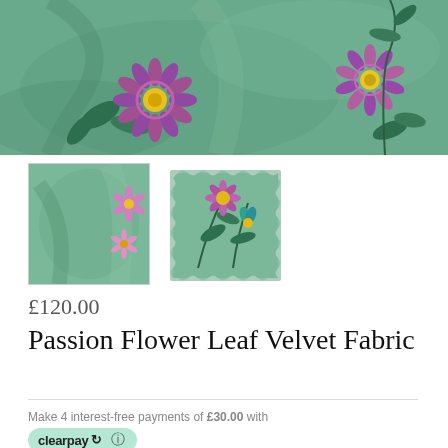[Figure (photo): Main product image: green velvet fabric with passion flower floral print — purple flowers with yellow centres, dark green leaves on teal/sage green background]
[Figure (photo): Thumbnail 1: close-up of green velvet fabric with pink floral print along edge]
[Figure (photo): Thumbnail 2: fabric swatch with scalloped stamp edge showing passion flower botanical print on green background]
£120.00
Passion Flower Leaf Velvet Fabric
Make 4 interest-free payments of £30.00 with
[Figure (logo): Clearpay logo badge — green pill-shaped badge with 'clearpay' text and arrow icon]